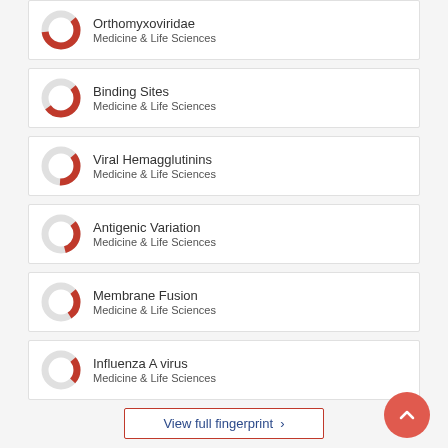Orthomyxoviridae
Medicine & Life Sciences
Binding Sites
Medicine & Life Sciences
Viral Hemagglutinins
Medicine & Life Sciences
Antigenic Variation
Medicine & Life Sciences
Membrane Fusion
Medicine & Life Sciences
Influenza A virus
Medicine & Life Sciences
View full fingerprint >